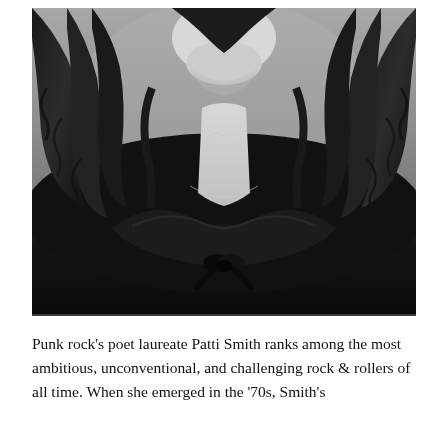[Figure (photo): Black and white close-up portrait photograph of a woman (Patti Smith) with dark curly hair, wearing a dark cowl-neck top with a bow, and a delicate necklace. Her chin is slightly raised.]
Punk rock's poet laureate Patti Smith ranks among the most ambitious, unconventional, and challenging rock & rollers of all time. When she emerged in the '70s, Smith's